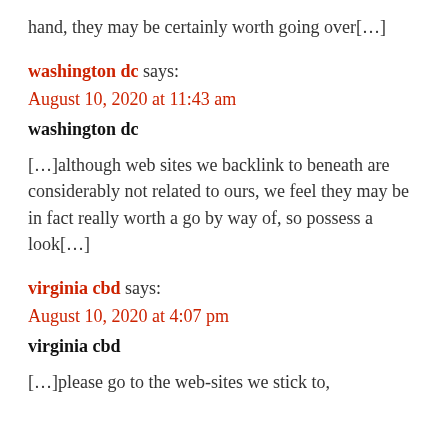hand, they may be certainly worth going over[…]
washington dc says:
August 10, 2020 at 11:43 am
washington dc
[…]although web sites we backlink to beneath are considerably not related to ours, we feel they may be in fact really worth a go by way of, so possess a look[…]
virginia cbd says:
August 10, 2020 at 4:07 pm
virginia cbd
[…]please go to the web-sites we stick to, as something on our site represent…